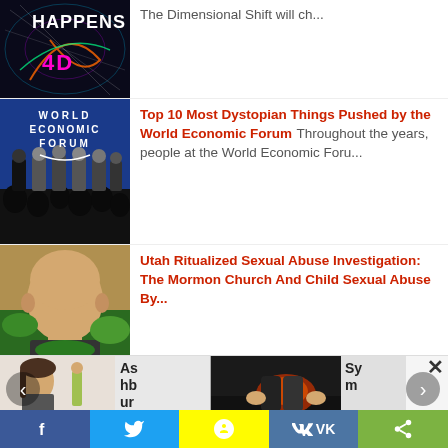[Figure (screenshot): Partial article row showing a cosmic/dimensional shift image with '4D' text and 'HAPPENS' visible, with truncated article title 'The Dimensional Shift will ch...']
[Figure (photo): World Economic Forum logo on blue backdrop with group of people on stage]
Top 10 Most Dystopian Things Pushed by the World Economic Forum Throughout the years, people at the World Economic Foru...
[Figure (photo): Close-up photo of a bald man's head from behind, with greenery in background]
Utah Ritualized Sexual Abuse Investigation: The Mormon Church And Child Sexual Abuse By...
[Figure (screenshot): Bottom promotional strip showing a woman's face on left side with text 'Ashbur' and a medical/body image on right side with text 'Sym']
Social share bar with Facebook, Twitter, Snapchat, VK, and share buttons